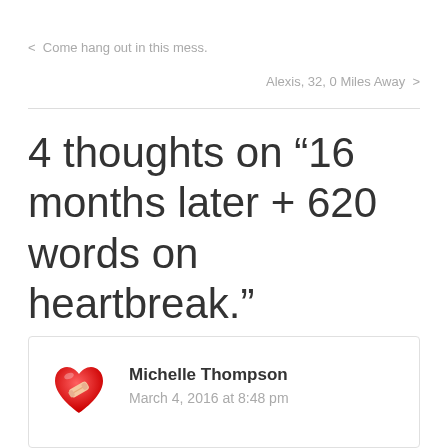< Come hang out in this mess.
Alexis, 32, 0 Miles Away >
4 thoughts on “16 months later + 620 words on heartbreak.”
Michelle Thompson
March 4, 2016 at 8:48 pm